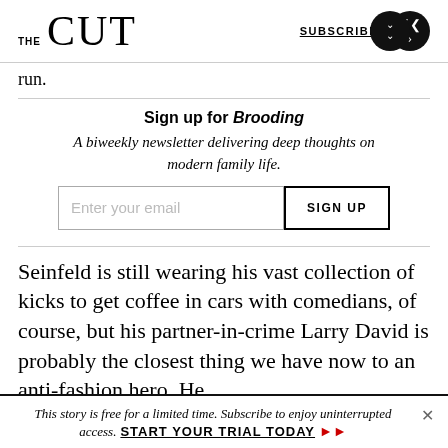THE CUT | SUBSCRIBE
run.
Sign up for Brooding
A biweekly newsletter delivering deep thoughts on modern family life.
Seinfeld is still wearing his vast collection of kicks to get coffee in cars with comedians, of course, but his partner-in-crime Larry David is probably the closest thing we have now to an anti-fashion hero. He
This story is free for a limited time. Subscribe to enjoy uninterrupted access. START YOUR TRIAL TODAY